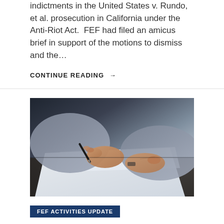indictments in the United States v. Rundo, et al. prosecution in California under the Anti-Riot Act.  FEF had filed an amicus brief in support of the motions to dismiss and the…
CONTINUE READING →
[Figure (photo): Close-up photo of a person's hands writing on paper with a pen, wearing a grey shirt, sitting at a dark wooden desk.]
FEF ACTIVITIES UPDATE